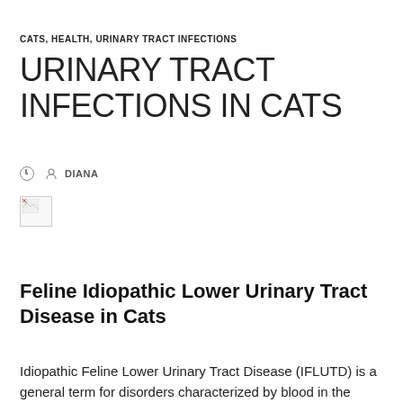CATS, HEALTH, URINARY TRACT INFECTIONS
URINARY TRACT INFECTIONS IN CATS
DIANA
[Figure (photo): Broken/missing image placeholder icon]
Feline Idiopathic Lower Urinary Tract Disease in Cats
Idiopathic Feline Lower Urinary Tract Disease (IFLUTD) is a general term for disorders characterized by blood in the urine